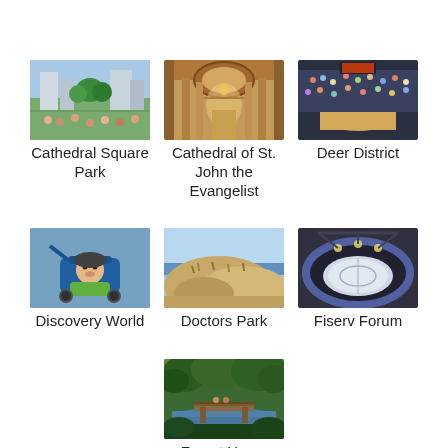[Figure (photo): Outdoor park scene with people and buildings — Cathedral Square Park]
Cathedral Square Park
[Figure (photo): Interior of a cathedral with ornate architecture — Cathedral of St. John the Evangelist]
Cathedral of St. John the Evangelist
[Figure (photo): Basketball arena crowd scene — Deer District]
Deer District
[Figure (photo): Child in stroller smiling — Discovery World]
Discovery World
[Figure (photo): Sandy dunes near water — Doctors Park]
Doctors Park
[Figure (photo): Indoor sports arena viewed from above — Fiserv Forum]
Fiserv Forum
[Figure (photo): Bridge over a creek among trees — Forest Home Cemetery]
Forest Home Cemetery